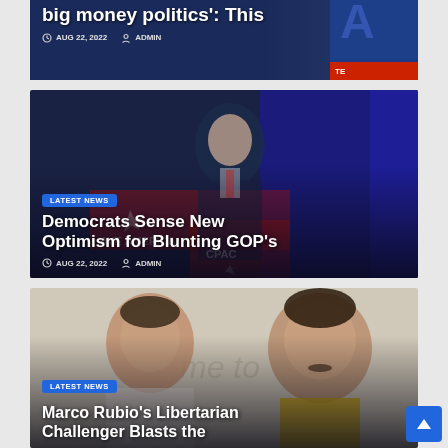[Figure (photo): Partial news card at top showing dark blue background with partial article title 'big money politics': This, dated AUG 22, 2022 by ADMIN, with partial image on right side]
big money politics': This
AUG 22, 2022   ADMIN
[Figure (photo): News card showing man in dark suit at CPAC podium with American flag background and SAVE AMERICA banner. Overlay shows: LATEST NEWS badge, headline 'Democrats Sense New Optimism for Blunting GOP's', date AUG 22, 2022, ADMIN]
LATEST NEWS
Democrats Sense New Optimism for Blunting GOP's
AUG 22, 2022   ADMIN
[Figure (photo): News card showing two men smiling, partial text visible in background. Overlay shows: LATEST NEWS badge, headline 'Marco Rubio's Libertarian Challenger Blasts the' (cut off)]
LATEST NEWS
Marco Rubio's Libertarian Challenger Blasts the